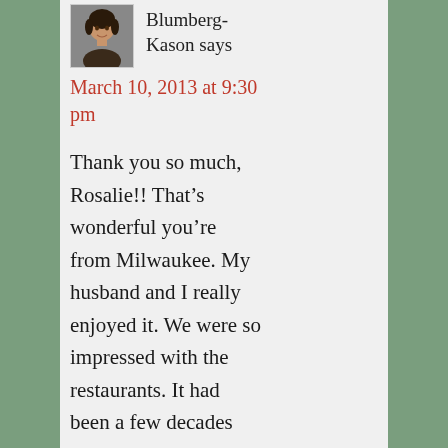[Figure (photo): Small profile photo of a woman with dark hair]
Blumberg-Kason says
March 10, 2013 at 9:30 pm
Thank you so much, Rosalie!! That’s wonderful you’re from Milwaukee. My husband and I really enjoyed it. We were so impressed with the restaurants. It had been a few decades since I’d spent more than a few hours there